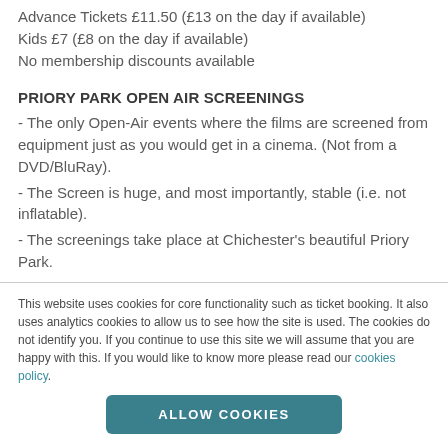Advance Tickets £11.50 (£13 on the day if available)
Kids £7 (£8 on the day if available)
No membership discounts available
PRIORY PARK OPEN AIR SCREENINGS
- The only Open-Air events where the films are screened from equipment just as you would get in a cinema. (Not from a DVD/BluRay).
- The Screen is huge, and most importantly, stable (i.e. not inflatable).
- The screenings take place at Chichester's beautiful Priory Park.
- They form part of the prestigious Chichester
This website uses cookies for core functionality such as ticket booking. It also uses analytics cookies to allow us to see how the site is used. The cookies do not identify you. If you continue to use this site we will assume that you are happy with this. If you would like to know more please read our cookies policy.